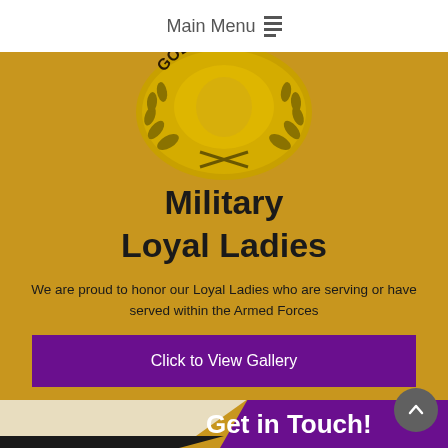Main Menu
[Figure (logo): Golden Circle emblem with laurel wreath and text 'GOLDEN CIR' visible, gold tone, partially cropped at top]
Military
Loyal Ladies
We are proud to honor our Loyal Ladies who are serving or have served within the Armed Forces
Click to View Gallery
Get in Touch!